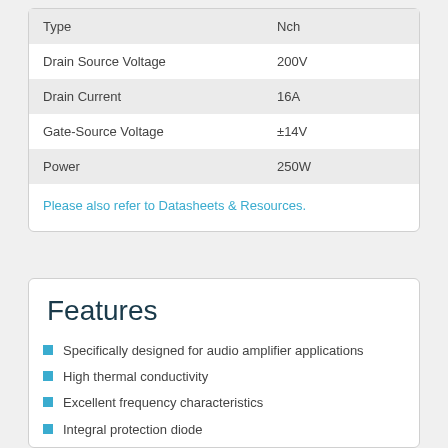|  |  |
| --- | --- |
| Type | Nch |
| Drain Source Voltage | 200V |
| Drain Current | 16A |
| Gate-Source Voltage | ±14V |
| Power | 250W |
Please also refer to Datasheets & Resources.
Features
Specifically designed for audio amplifier applications
High thermal conductivity
Excellent frequency characteristics
Integral protection diode